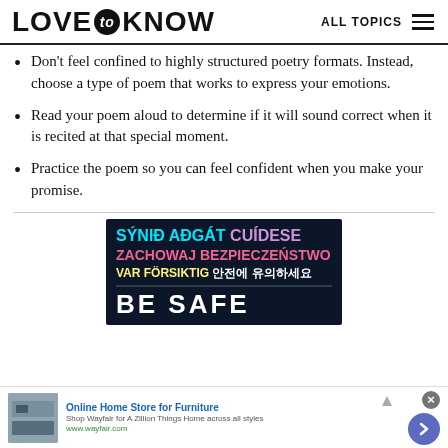LOVE to KNOW  ALL TOPICS
Don't feel confined to highly structured poetry formats. Instead, choose a type of poem that works to express your emotions.
Read your poem aloud to determine if it will sound correct when it is recited at that special moment.
Practice the poem so you can feel confident when you make your promise.
[Figure (infographic): Colorful advertisement banner on dark navy background with multilingual safety text in cyan, orange, purple, pink, and white. Lines read: 'SÝNIÐ AÐGÁT CUÍDESE', 'ZACHOWAJ BEZPIECZEŃSTWO', 'VAR FÖRSIKTIG 안전에 유의하세요' and white bold letters partially visible at bottom.]
[Figure (infographic): Bottom advertisement strip for Wayfair: 'Online Home Store for Furniture', 'Shop Wayfair for A Zillion Things Home across all styles', 'www.wayfair.com'. Includes furniture thumbnail image, close button, and purple arrow button.]